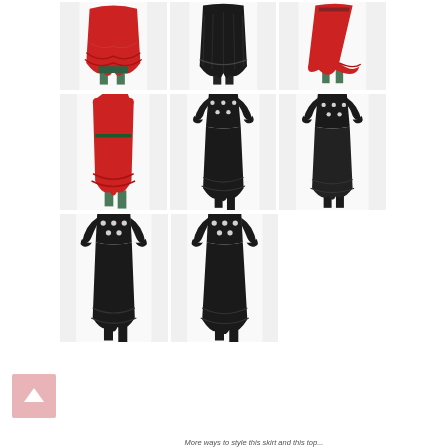[Figure (photo): Grid of 8 flamenco dance skirt product photos — red ruffled skirts (top row, 3 images), red and black polka-dot top with black skirt (middle row, 3 images), and black skirt close-up views (bottom row, 2 images). Models shown from waist down wearing flamenco shoes.]
More ways to style this skirt and this top...